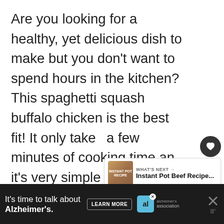Are you looking for a healthy, yet delicious dish to make but you don't want to spend hours in the kitchen? This spaghetti squash buffalo chicken is the best fit! It only takes a few minutes of cooking time and it's very simple to make.
[Figure (screenshot): UI overlay with heart/favorite button (dark circle with heart icon), 1K count label, and share button (light circle with share icon)]
[Figure (screenshot): What's Next panel with thumbnail image of Instant Pot Beef Recipe and text 'WHAT'S NEXT → Instant Pot Beef Recipe...']
[Figure (screenshot): Ad banner: black background. Text 'It's time to talk about Alzheimer's.' with LEARN MORE button, Alzheimer's association logo, and close controls.]